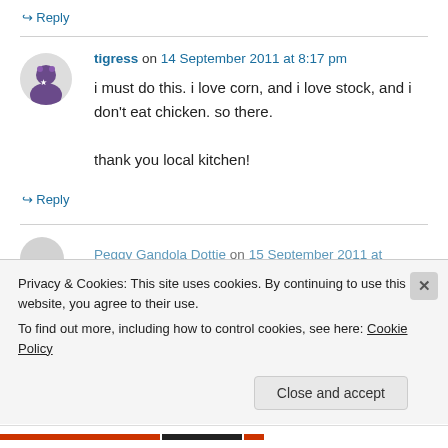↪ Reply
tigress on 14 September 2011 at 8:17 pm
i must do this. i love corn, and i love stock, and i don't eat chicken. so there.

thank you local kitchen!
↪ Reply
Peggy Gandola Dottie on 15 September 2011 at
Privacy & Cookies: This site uses cookies. By continuing to use this website, you agree to their use.
To find out more, including how to control cookies, see here: Cookie Policy